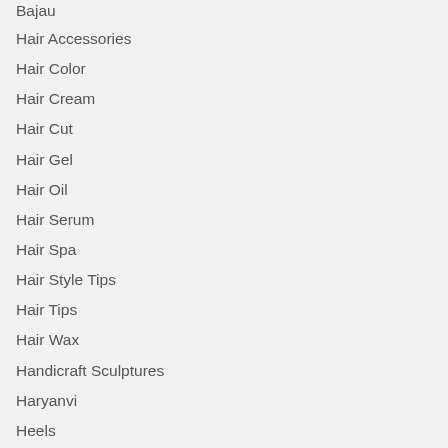Bajau
Hair Accessories
Hair Color
Hair Cream
Hair Cut
Hair Gel
Hair Oil
Hair Serum
Hair Spa
Hair Style Tips
Hair Tips
Hair Wax
Handicraft Sculptures
Haryanvi
Heels
Innerwear & Sleepwear